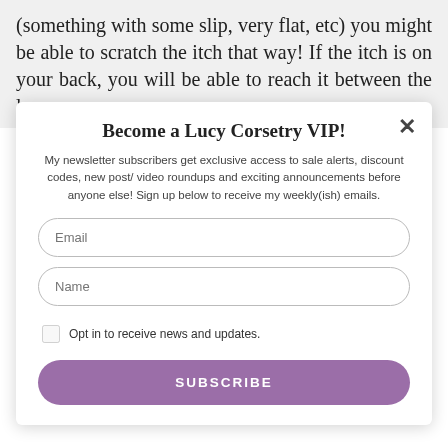(something with some slip, very flat, etc) you might be able to scratch the itch that way! If the itch is on your back, you will be able to reach it between the laces
Become a Lucy Corsetry VIP!
My newsletter subscribers get exclusive access to sale alerts, discount codes, new post/ video roundups and exciting announcements before anyone else! Sign up below to receive my weekly(ish) emails.
Email
Name
Opt in to receive news and updates.
SUBSCRIBE